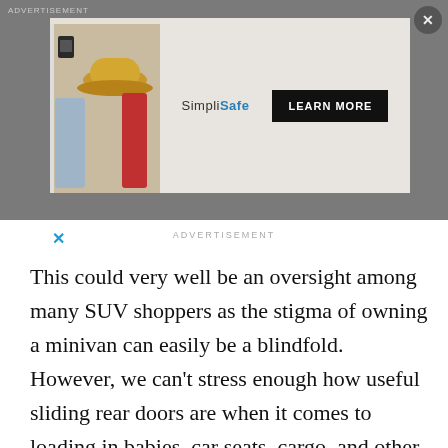[Figure (screenshot): Advertisement banner overlay with SimpliSafe brand and LEARN MORE button, showing a hallway image with a hat and security device. Gray overlay background with close (X) button.]
ADVERTISEMENT
This could very well be an oversight among many SUV shoppers as the stigma of owning a minivan can easily be a blindfold. However, we can't stress enough how useful sliding rear doors are when it comes to loading in babies, car seats, cargo, and other passengers. Is the minivan parked on a driveway or a hill? No problem! All of the minivans today come with power sliding doors that close with the touch of a button.